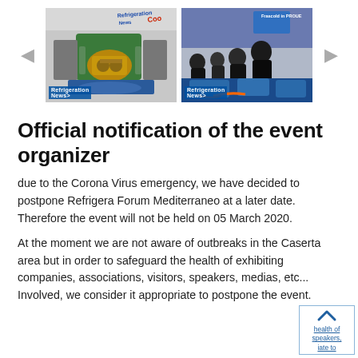[Figure (photo): Two side-by-side photos from what appears to be a refrigeration/HVAC trade show exhibition floor. Left photo shows industrial equipment (green and gold valves/components) on display. Right photo shows attendees gathered around blue equipment. Navigation arrows on either side.]
Official notification of the event organizer
due to the Corona Virus emergency, we have decided to postpone Refrigera Forum Mediterraneo at a later date. Therefore the event will not be held on 05 March 2020.
At the moment we are not aware of outbreaks in the Caserta area but in order to safeguard the health of exhibiting companies, associations, visitors, speakers, medias, etc... Involved, we consider it appropriate to postpone the event.